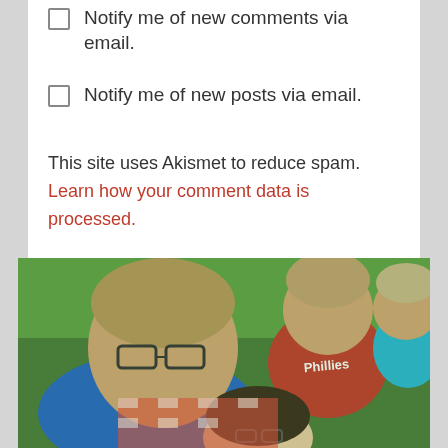Notify me of new comments via email.
Notify me of new posts via email.
This site uses Akismet to reduce spam. Learn how your comment data is processed.
[Figure (photo): Group photo of children and a woman lying on grass at an outdoor event. A boy in a blue shirt with glasses is in the foreground, a child in a red Phillies shirt behind him, a woman with dark hair and glasses, and another child.]